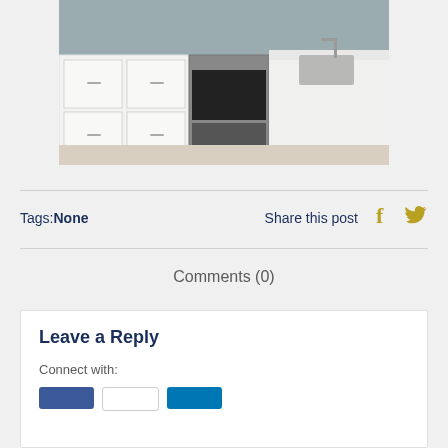[Figure (photo): Kitchen photo showing white cabinets, stainless steel appliances, and a white countertop island with sink]
Tags:None
Share this post
Comments (0)
Leave a Reply
Connect with: